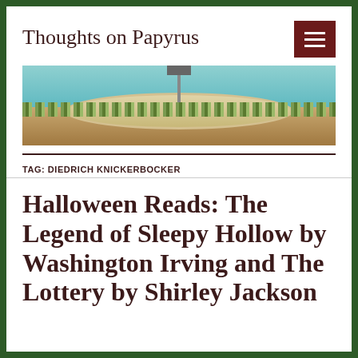Thoughts on Papyrus
[Figure (illustration): Panoramic banner image showing a circular futuristic structure or space needle with a ring of trees/foliage, set against a teal/blue sky with a world map visible, and sandy/brown terrain below.]
TAG: DIEDRICH KNICKERBOCKER
Halloween Reads: The Legend of Sleepy Hollow by Washington Irving and The Lottery by Shirley Jackson